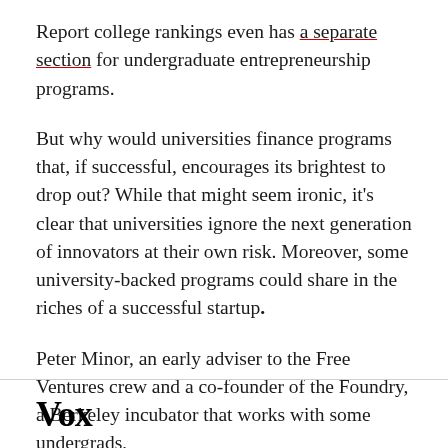Report college rankings even has a separate section for undergraduate entrepreneurship programs.
But why would universities finance programs that, if successful, encourages its brightest to drop out? While that might seem ironic, it's clear that universities ignore the next generation of innovators at their own risk. Moreover, some university-backed programs could share in the riches of a successful startup.
Peter Minor, an early adviser to the Free Ventures crew and a co-founder of the Foundry, a Berkeley incubator that works with some undergrads,
Vox